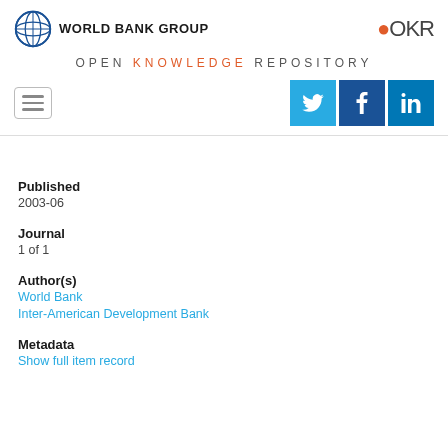WORLD BANK GROUP — OPEN KNOWLEDGE REPOSITORY
[Figure (logo): World Bank Group logo with globe icon and OKR logo on the right]
Published
2003-06
Journal
1 of 1
Author(s)
World Bank
Inter-American Development Bank
Metadata
Show full item record